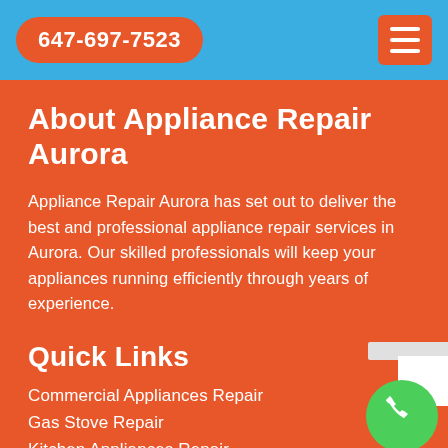647-697-7523
About Appliance Repair Aurora
Appliance Repair Aurora has set out to deliver the best and professional appliance repair services in Aurora. Our skilled professionals will keep your appliances running efficiently through years of experience.
Quick Links
Commercial Appliances Repair
Gas Stove Repair
Kitchen Appliances Repair
Oven Elements Replacement